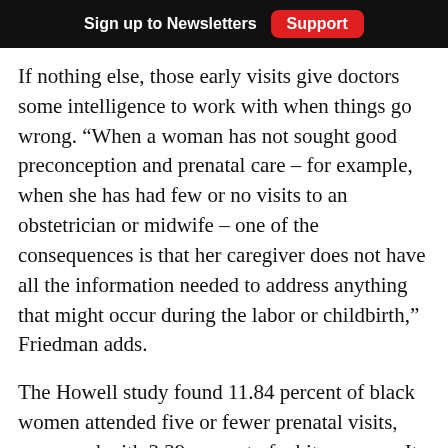Sign up to Newsletters   Support
If nothing else, those early visits give doctors some intelligence to work with when things go wrong. “When a woman has not sought good preconception and prenatal care – for example, when she has had few or no visits to an obstetrician or midwife – one of the consequences is that her caregiver does not have all the information needed to address anything that might occur during the labor or childbirth,” Friedman adds.
The Howell study found 11.84 percent of black women attended five or fewer prenatal visits, compared with 3.39 percent of white women. It also revealed that in New York City a greater percentage of self-identi… black women commence labor with poorer healt… do self-identified white women: blacks post an obesity